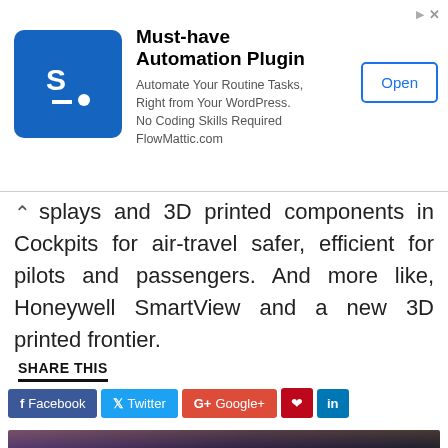[Figure (screenshot): Advertisement banner for FlowMattic automation plugin with blue icon, title 'Must-have Automation Plugin', body text, and Open button]
splays and 3D printed components in Cockpits for air-travel safer, efficient for pilots and passengers. And more like, Honeywell SmartView and a new 3D printed frontier.
SHARE THIS
[Figure (screenshot): Social share buttons: Facebook, Twitter, Google+, Pinterest, LinkedIn]
[Figure (photo): Photo of panelists at an event, showing group of people in front of a banner. Related article card with APP badge and caption: Quick Ride App and its potential features and benefits]